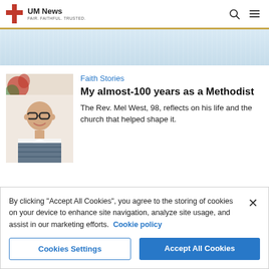UM News — FAIR. FAITHFUL. TRUSTED.
[Figure (photo): Light blue banner/header image area with subtle texture]
Faith Stories
My almost-100 years as a Methodist
The Rev. Mel West, 98, reflects on his life and the church that helped shape it.
[Figure (photo): Portrait of an elderly man wearing glasses and a sweater, smiling, with Christmas decorations in the background]
By clicking "Accept All Cookies", you agree to the storing of cookies on your device to enhance site navigation, analyze site usage, and assist in our marketing efforts. Cookie policy